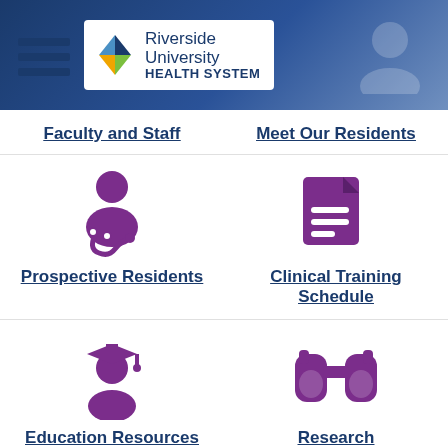[Figure (logo): Riverside University Health System logo with colorful pinwheel icon and hamburger menu icon on blue gradient header background]
Faculty and Staff
Meet Our Residents
[Figure (illustration): Purple doctor/resident icon with stethoscope]
[Figure (illustration): Purple document/file icon]
Prospective Residents
Clinical Training Schedule
[Figure (illustration): Purple graduation cap student icon]
[Figure (illustration): Purple binoculars icon]
Education Resources
Research